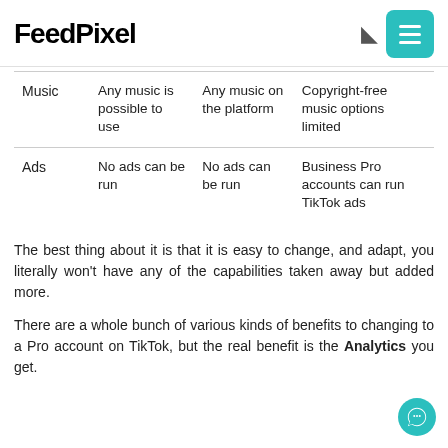FeedPixel
|  |  |  |  |
| --- | --- | --- | --- |
| Music | Any music is possible to use | Any music on the platform | Copyright-free music options limited |
| Ads | No ads can be run | No ads can be run | Business Pro accounts can run TikTok ads |
The best thing about it is that it is easy to change, and adapt, you literally won't have any of the capabilities taken away but added more.
There are a whole bunch of various kinds of benefits to changing to a Pro account on TikTok, but the real benefit is the Analytics you get.